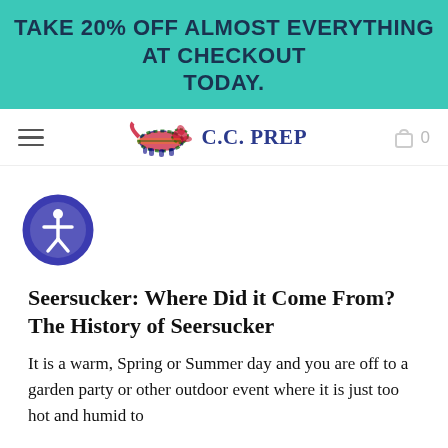TAKE 20% OFF ALMOST EVERYTHING AT CHECKOUT TODAY.
[Figure (logo): C.C. Prep logo with a running dog made of plaid fabric and the text C.C. PREP in navy serif font, hamburger menu icon on left, shopping bag icon with 0 on right]
[Figure (illustration): Accessibility icon: blue circle with person/human figure in white, indicating accessibility features]
Seersucker: Where Did it Come From? The History of Seersucker
It is a warm, Spring or Summer day and you are off to a garden party or other outdoor event where it is just too hot and humid to